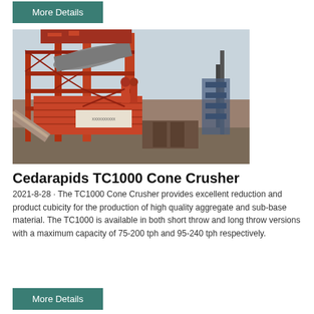More Details
[Figure (photo): Industrial orange asphalt/aggregate plant with tall structure, silos, conveyors, and a tower, photographed outdoors.]
Cedarapids TC1000 Cone Crusher
2021-8-28 · The TC1000 Cone Crusher provides excellent reduction and product cubicity for the production of high quality aggregate and sub-base material. The TC1000 is available in both short throw and long throw versions with a maximum capacity of 75-200 tph and 95-240 tph respectively.
More Details